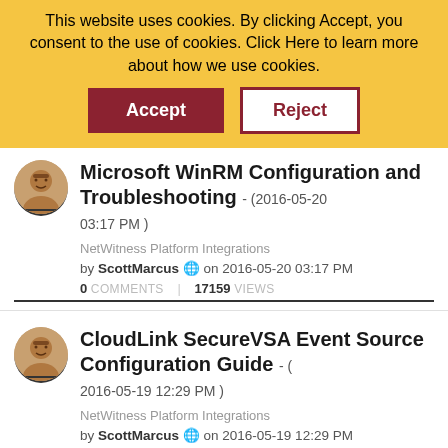This website uses cookies. By clicking Accept, you consent to the use of cookies. Click Here to learn more about how we use cookies.
Microsoft WinRM Configuration and Troubleshooting - (2016-05-20 03:17 PM )
NetWitness Platform Integrations
by ScottMarcus on 2016-05-20 03:17 PM
0 COMMENTS   17159 VIEWS
CloudLink SecureVSA Event Source Configuration Guide - ( 2016-05-19 12:29 PM )
NetWitness Platform Integrations
by ScottMarcus on 2016-05-19 12:29 PM